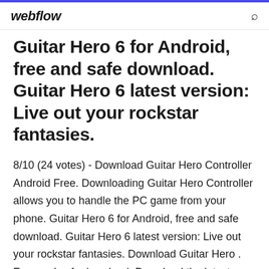webflow
Guitar Hero 6 for Android, free and safe download. Guitar Hero 6 latest version: Live out your rockstar fantasies.
8/10 (24 votes) - Download Guitar Hero Controller Android Free. Downloading Guitar Hero Controller allows you to handle the PC game from your phone. Guitar Hero 6 for Android, free and safe download. Guitar Hero 6 latest version: Live out your rockstar fantasies. Download Guitar Hero . Free and safe download. Download the latest version of the top software, games, programs and apps in 2019. Guitar Hero Live 1.3.1 for iPhone, safe and